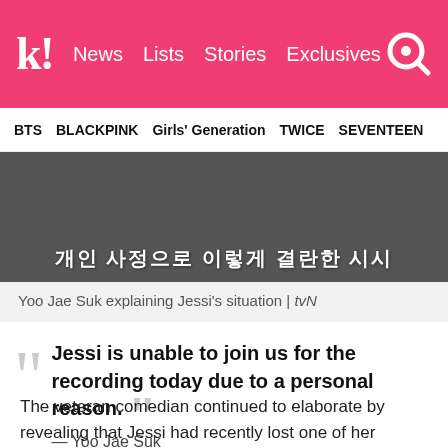k! News  Lists  Stories  Exclusives
BTS  BLACKPINK  Girls' Generation  TWICE  SEVENTEEN
[Figure (photo): Screenshot of a TV show with Korean text overlay showing a person in background]
Yoo Jae Suk explaining Jessi's situation | tvN
"Jessi is unable to join us for the recording today due to a personal reason." — Yoo Jae Suk
The veteran comedian continued to elaborate by revealing that Jessi had recently lost one of her